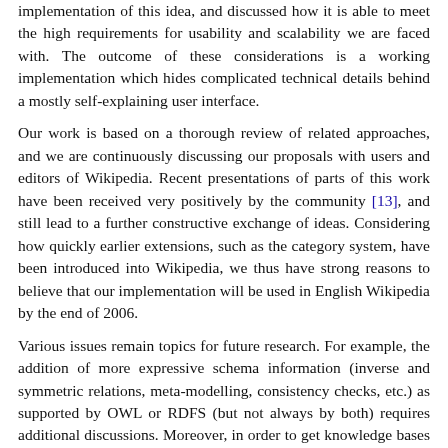implementation of this idea, and discussed how it is able to meet the high requirements for usability and scalability we are faced with. The outcome of these considerations is a working implementation which hides complicated technical details behind a mostly self-explaining user interface.
Our work is based on a thorough review of related approaches, and we are continuously discussing our proposals with users and editors of Wikipedia. Recent presentations of parts of this work have been received very positively by the community [13], and still lead to a further constructive exchange of ideas. Considering how quickly earlier extensions, such as the category system, have been introduced into Wikipedia, we thus have strong reasons to believe that our implementation will be used in English Wikipedia by the end of 2006.
Various issues remain topics for future research. For example, the addition of more expressive schema information (inverse and symmetric relations, meta-modelling, consistency checks, etc.) as supported by OWL or RDFS (but not always by both) requires additional discussions. Moreover, in order to get knowledge bases small enough to fit existing tools, the RDF graph might need to be pruned and relevant subgraphs have to be identified. For specific uses it might be required to map Semantic Wikipedia to existing knowledge bases, e.g. aligning concepts with another ontology. In addition to general ontology alignment issues, there will be an extra challenge, because Wikipedia is neither complete nor